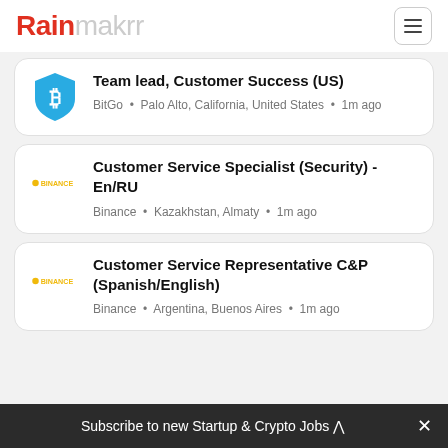Rainmakrr
Team lead, Customer Success (US) — BitGo • Palo Alto, California, United States • 1m ago
Customer Service Specialist (Security) - En/RU — Binance • Kazakhstan, Almaty • 1m ago
Customer Service Representative C&P (Spanish/English) — Binance • Argentina, Buenos Aires • 1m ago
Subscribe to new Startup & Crypto Jobs